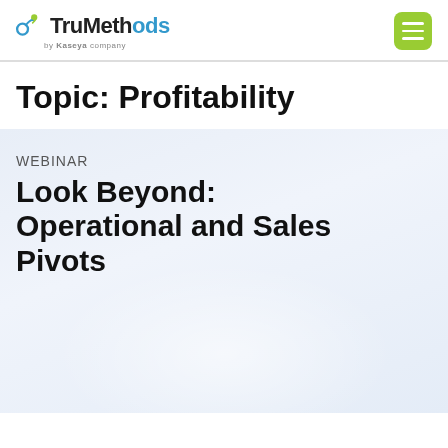TruMethods by Kaseya — navigation header with logo and menu button
Topic: Profitability
WEBINAR
Look Beyond: Operational and Sales Pivots